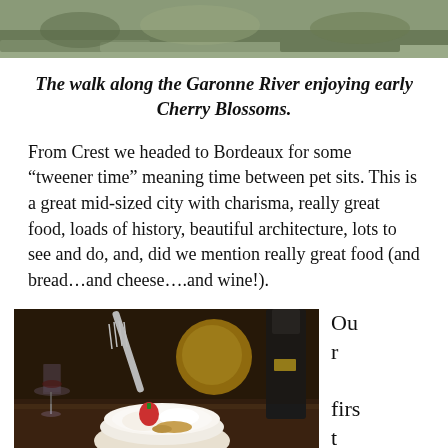[Figure (photo): Top portion of a photo showing a walk along the Garonne River with early Cherry Blossoms, cobblestone path and green grass visible]
The walk along the Garonne River enjoying early Cherry Blossoms.
From Crest we headed to Bordeaux for some “tweener time” meaning time between pet sits. This is a great mid-sized city with charisma, really great food, loads of history, beautiful architecture, lots to see and do, and, did we mention really great food (and bread…and cheese….and wine!).
[Figure (photo): A dessert dish with what appears to be ice cream, strawberries and nuts in a glass bowl, with a fork, spoon, wine glass, yellow object, and dark wine bottle visible in the background]
Our first day began